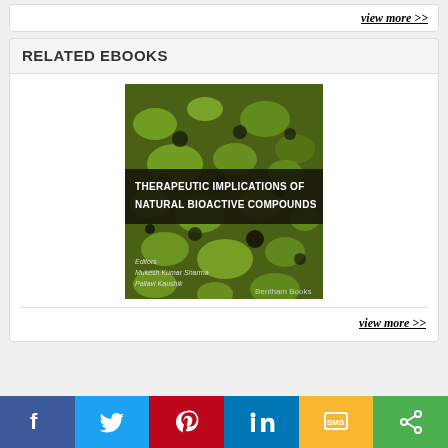view more >>
RELATED EBOOKS
[Figure (photo): Book cover of 'Therapeutic Implications of Natural Bioactive Compounds' edited by Mukesh Kumar Sharma and Pallavi Kaushik, published by Bentham Books. Cover shows close-up photo of green and black lichen/moss.]
view more >>
[Figure (infographic): Social media sharing bar with buttons for Facebook (blue), Twitter (light blue), Pinterest (red), LinkedIn (blue), SMS (yellow), and Share (green).]